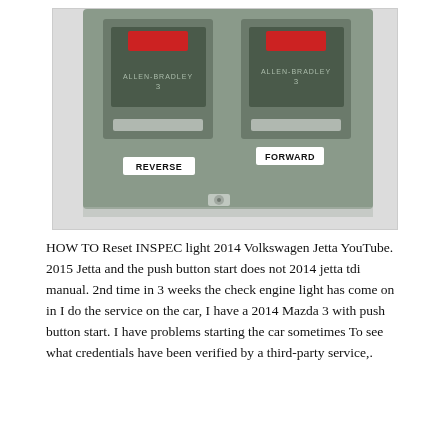[Figure (photo): Close-up photo of an Allen-Bradley electrical switch panel with two breakers labeled REVERSE and FORWARD on a gray metal enclosure.]
HOW TO Reset INSPEC light 2014 Volkswagen Jetta YouTube. 2015 Jetta and the push button start does not 2014 jetta tdi manual. 2nd time in 3 weeks the check engine light has come on in I do the service on the car, I have a 2014 Mazda 3 with push button start. I have problems starting the car sometimes To see what credentials have been verified by a third-party service,.